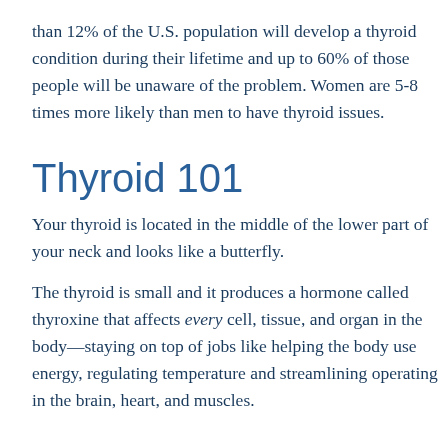than 12% of the U.S. population will develop a thyroid condition during their lifetime and up to 60% of those people will be unaware of the problem. Women are 5-8 times more likely than men to have thyroid issues.
Thyroid 101
Your thyroid is located in the middle of the lower part of your neck and looks like a butterfly.
The thyroid is small and it produces a hormone called thyroxine that affects every cell, tissue, and organ in the body—staying on top of jobs like helping the body use energy, regulating temperature and streamlining operating in the brain, heart, and muscles.